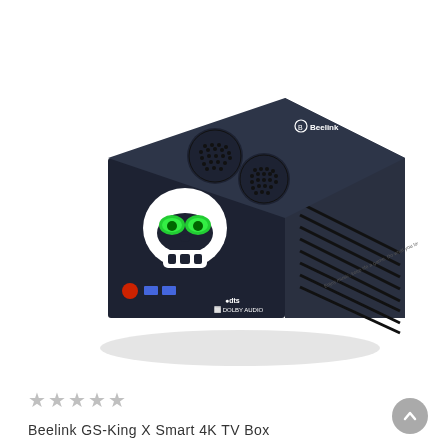[Figure (photo): Beelink GS-King X Smart 4K TV Box — a dark navy/black rectangular mini PC box with a skull graphic (green glowing eyes) on the front face, two circular ventilation grilles on top, horizontal ventilation slots on the right side, a red LED button and two blue USB ports on the front, DTS and Dolby Audio logos on the front bottom, and the Beelink logo on the top. The box is shown in a 3D perspective view against a white background.]
★★★★★
Beelink GS-King X Smart 4K TV Box